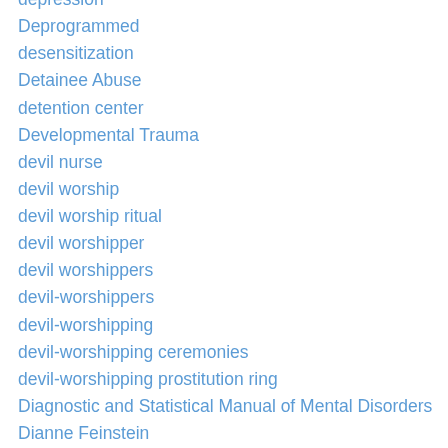depression
Deprogrammed
desensitization
Detainee Abuse
detention center
Developmental Trauma
devil nurse
devil worship
devil worship ritual
devil worshipper
devil worshippers
devil-worshippers
devil-worshipping
devil-worshipping ceremonies
devil-worshipping prostitution ring
Diagnostic and Statistical Manual of Mental Disorders
Dianne Feinstein
DID
Did Daddy Do It
DID system